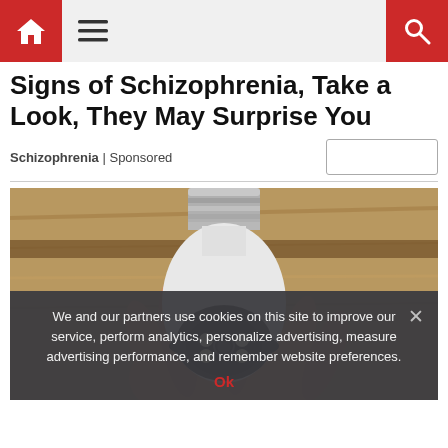Navigation bar with home icon, menu icon, and search icon
Signs of Schizophrenia, Take a Look, They May Surprise You
Schizophrenia | Sponsored
[Figure (photo): A hand holding a white smart security camera shaped like a light bulb with an E27 screw base, with multiple LED lights on the front lens, photographed indoors against a wooden background.]
We and our partners use cookies on this site to improve our service, perform analytics, personalize advertising, measure advertising performance, and remember website preferences.
Ok